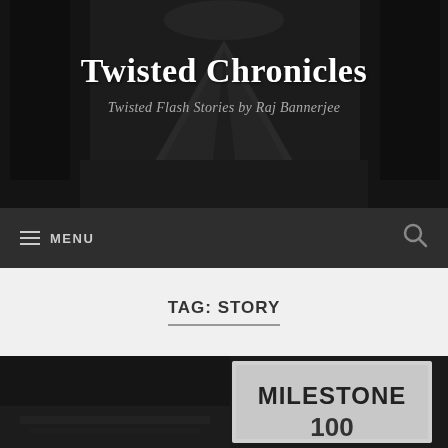[Figure (photo): Dark atmospheric header image showing a winding road through trees, black and white photograph serving as website banner background]
Twisted Chronicles
Twisted Flash Stories by Raj Bannerjee
≡ MENU  🔍
TAG: STORY
[Figure (photo): Black and white photograph of a milestone marker sign reading 'MILESTONE 100', cropped at the bottom of the page]